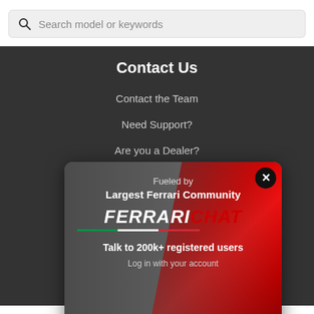Search model or keywords
Contact Us
Contact the Team
Need Support?
Are you a Dealer?
Partnerships & Advertisement
[Figure (screenshot): Ferrari Chat popup advertisement showing a red Ferrari car, with text 'Fueled by', 'Largest Ferrari Community', 'FERRARICHAT' logo in white and red italic bold text with Italian flag underline, 'Talk to 200k+ registered users', 'Log in with your account', and a close button (X) in top right corner]
Ju... A.
MOTORSPORT NETWORK